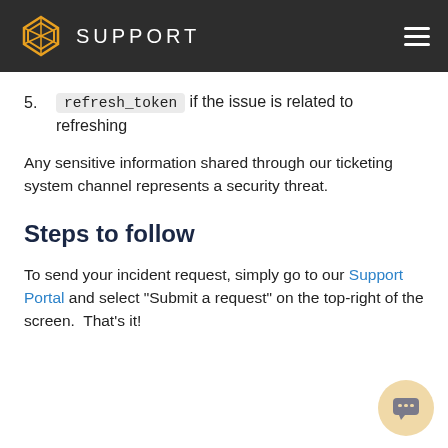SUPPORT
5. refresh_token if the issue is related to refreshing
Any sensitive information shared through our ticketing system channel represents a security threat.
Steps to follow
To send your incident request, simply go to our Support Portal and select "Submit a request" on the top-right of the screen. That's it!